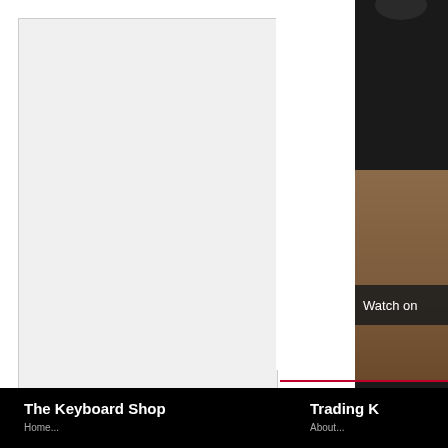[Figure (screenshot): Light gray rectangular panel on left side of page, representing a product or placeholder image area]
[Figure (screenshot): Partial view of a dark-themed video or media panel on the right, showing a circular button at top, brownish/flesh-toned content area, and a 'Watch on' overlay bar at bottom]
Watch on
The Keyboard Shop
Trading K